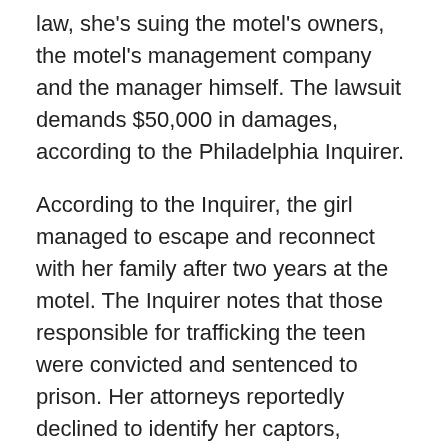law, she's suing the motel's owners, the motel's management company and the manager himself. The lawsuit demands $50,000 in damages, according to the Philadelphia Inquirer.
According to the Inquirer, the girl managed to escape and reconnect with her family after two years at the motel. The Inquirer notes that those responsible for trafficking the teen were convicted and sentenced to prison. Her attorneys reportedly declined to identify her captors, fearing retaliation. http://www.cbsnews.com/news/philadelphia-teen-says-she-was-forced-to-have-sex-with-1000-men-over-2-years/